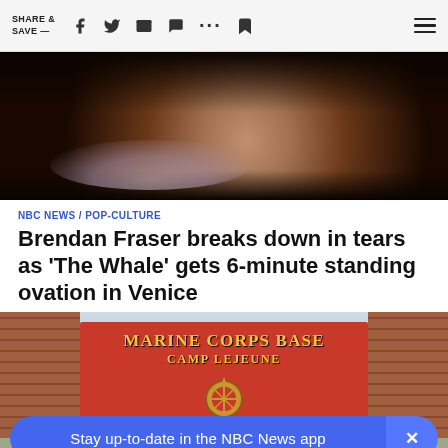SHARE & SAVE —
[Figure (photo): Close-up photo of a man's face in profile, slightly blurred, dark background]
NBC NEWS / POP-CULTURE
Brendan Fraser breaks down in tears as 'The Whale' gets 6-minute standing ovation in Venice
[Figure (photo): Photo of Marine Corps Base Camp Lejeune sign on a brick building with emblem]
Stay up-to-date in the NBC News app